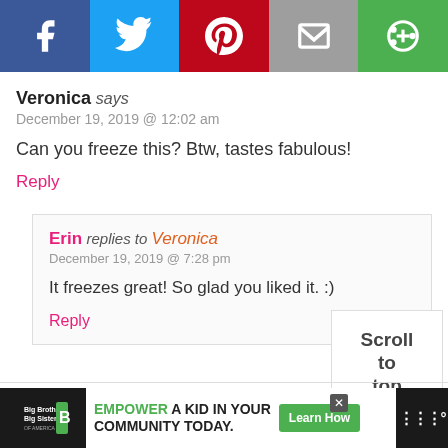[Figure (other): Social share bar with Facebook, Twitter, Pinterest, Email, and a green share button icons]
Veronica says
December 19, 2019 @ 12:02 am
Can you freeze this? Btw, tastes fabulous!
Reply
Erin replies to Veronica
December 19, 2019 @ 7:28 pm
It freezes great! So glad you liked it. :)
Reply
Scroll
to
top
[Figure (other): Bottom advertisement bar: Big Brothers Big Sisters logo, EMPOWER A KID IN YOUR COMMUNITY TODAY. Learn How button]